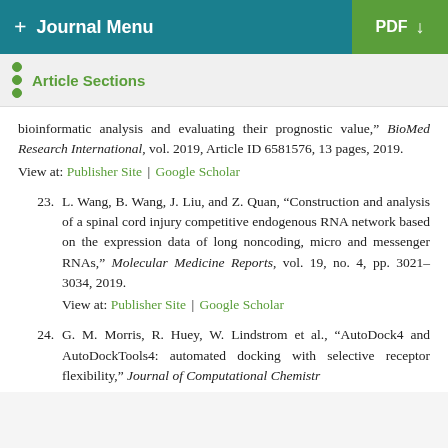+ Journal Menu | PDF ↓
Article Sections
bioinformatic analysis and evaluating their prognostic value," BioMed Research International, vol. 2019, Article ID 6581576, 13 pages, 2019.
View at: Publisher Site | Google Scholar
23. L. Wang, B. Wang, J. Liu, and Z. Quan, "Construction and analysis of a spinal cord injury competitive endogenous RNA network based on the expression data of long noncoding, micro and messenger RNAs," Molecular Medicine Reports, vol. 19, no. 4, pp. 3021–3034, 2019.
View at: Publisher Site | Google Scholar
24. G. M. Morris, R. Huey, W. Lindstrom et al., "AutoDock4 and AutoDockTools4: automated docking with selective receptor flexibility," Journal of Computational Chemistry...